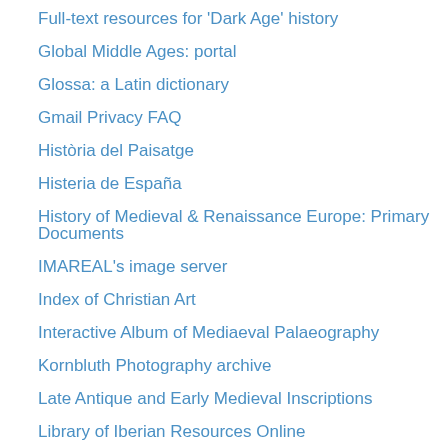Full-text resources for 'Dark Age' history
Global Middle Ages: portal
Glossa: a Latin dictionary
Gmail Privacy FAQ
Història del Paisatge
Histeria de España
History of Medieval & Renaissance Europe: Primary Documents
IMAREAL's image server
Index of Christian Art
Interactive Album of Mediaeval Palaeography
Kornbluth Photography archive
Late Antique and Early Medieval Inscriptions
Library of Iberian Resources Online
Material Culture for Historians Powerpoint presentation
Medieval Calendar Calculator
Medieval Writing
MedievalEuropeOnline
Monastic Matrix
Online Medieval & Classical Library
Online palæography exercises